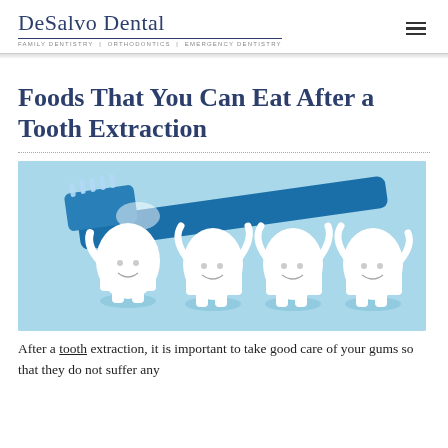DeSalvo Dental | Family Dentistry | Orthodontics | Emergency Dentistry
Foods That You Can Eat After a Tooth Extraction
[Figure (illustration): Cartoon illustration of four smiling tooth characters standing together with a large blue toothbrush on a light blue background]
After a tooth extraction, it is important to take good care of your gums so that they do not suffer any